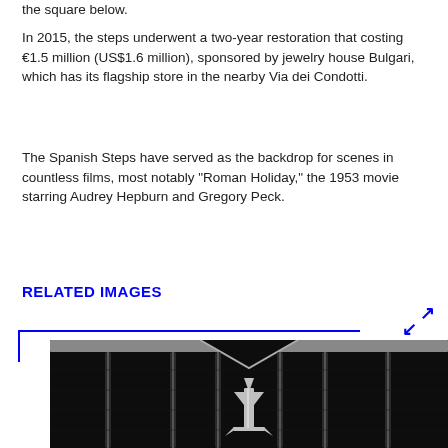the square below.
In 2015, the steps underwent a two-year restoration that costing €1.5 million (US$1.6 million), sponsored by jewelry house Bulgari, which has its flagship store in the nearby Via dei Condotti.
The Spanish Steps have served as the backdrop for scenes in countless films, most notably "Roman Holiday," the 1953 movie starring Audrey Hepburn and Gregory Peck.
RELATED IMAGES
[Figure (photo): Close-up photo of a Maserati car grille with the Maserati trident logo in chrome on a dark background]